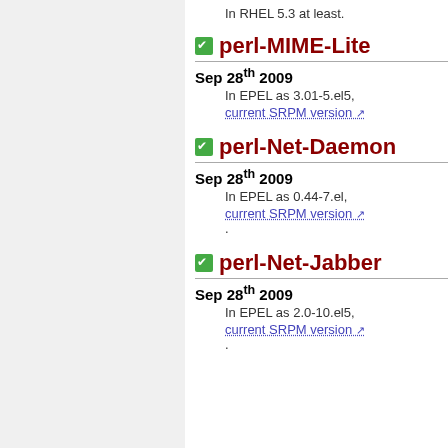In RHEL 5.3 at least.
perl-MIME-Lite
Sep 28th 2009
In EPEL as 3.01-5.el5,
current SRPM version
perl-Net-Daemon
Sep 28th 2009
In EPEL as 0.44-7.el,
current SRPM version
.
perl-Net-Jabber
Sep 28th 2009
In EPEL as 2.0-10.el5,
current SRPM version
.